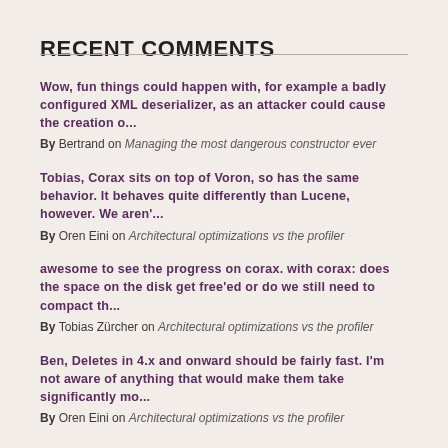RECENT COMMENTS
Wow, fun things could happen with, for example a badly configured XML deserializer, as an attacker could cause the creation o... By Bertrand on Managing the most dangerous constructor ever
Tobias, Corax sits on top of Voron, so has the same behavior. It behaves quite differently than Lucene, however. We aren'... By Oren Eini on Architectural optimizations vs the profiler
awesome to see the progress on corax. with corax: does the space on the disk get free'ed or do we still need to compact th... By Tobias Zürcher on Architectural optimizations vs the profiler
Ben, Deletes in 4.x and onward should be fairly fast. I'm not aware of anything that would make them take significantly mo... By Oren Eini on Architectural optimizations vs the profiler